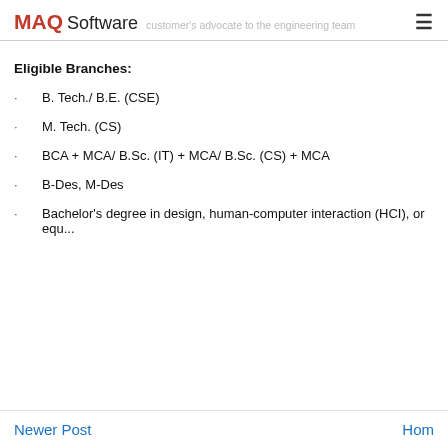MAQ Software — customer's advocate to the engineering team
Eligible Branches:
B. Tech./ B.E. (CSE)
M. Tech. (CS)
BCA + MCA/ B.Sc. (IT) + MCA/ B.Sc. (CS) + MCA
B-Des, M-Des
Bachelor's degree in design, human-computer interaction (HCI), or equ.
Newer Post | Hom